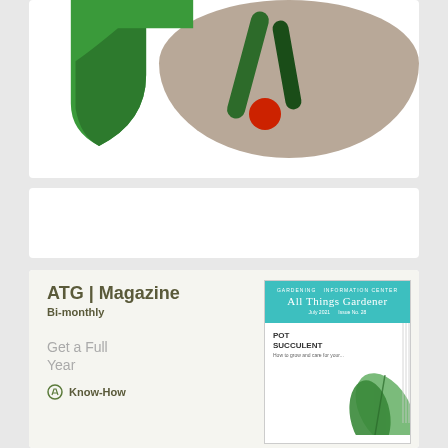[Figure (photo): Top card showing a green stylized T/fork logo shape on the left and a circular photo of cucumbers and a tomato on a wooden surface on the right]
[Figure (photo): Middle card — blank white area, possibly an ad placeholder]
[Figure (illustration): Bottom card showing ATG Magazine advertisement with title 'ATG | Magazine', subtitle 'Bi-monthly', text 'Get a Full Year' and 'Know-How', alongside a magazine cover showing 'All Things Gardener' with a plant/succulent theme]